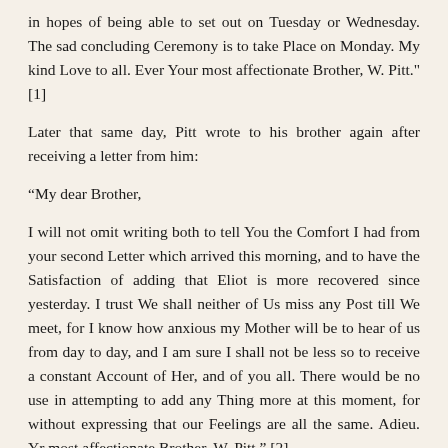in hopes of being able to set out on Tuesday or Wednesday. The sad concluding Ceremony is to take Place on Monday. My kind Love to all. Ever Your most affectionate Brother, W. Pitt." [1]
Later that same day, Pitt wrote to his brother again after receiving a letter from him:
“My dear Brother,
I will not omit writing both to tell You the Comfort I had from your second Letter which arrived this morning, and to have the Satisfaction of adding that Eliot is more recovered since yesterday. I trust We shall neither of Us miss any Post till We meet, for I know how anxious my Mother will be to hear of us from day to day, and I am sure I shall not be less so to receive a constant Account of Her, and of you all. There would be no use in attempting to add any Thing more at this moment, for without expressing that our Feelings are all the same. Adieu. Yr most affectionate Brother, W. Pitt." [2]
This is the last of this particular chain of letters, but the brotherly bond and depth of affection is unmistakeable.